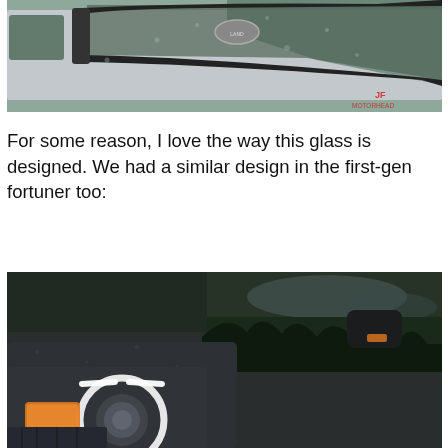[Figure (photo): Close-up of a Land Rover SUV roofline/glass area, showing the rear window glass design, Land Rover badge, with raindrops on the surface. Watermark with red text in lower right corner.]
For some reason, I love the way this glass is designed. We had a similar design in the first-gen fortuner too:
[Figure (photo): Front close-up of a Land Rover/Fortuner SUV at dusk/night showing illuminated LED daytime running lights forming a circular ring and amber turn signal, hood with raindrops, dark background with trees and cloudy sky.]